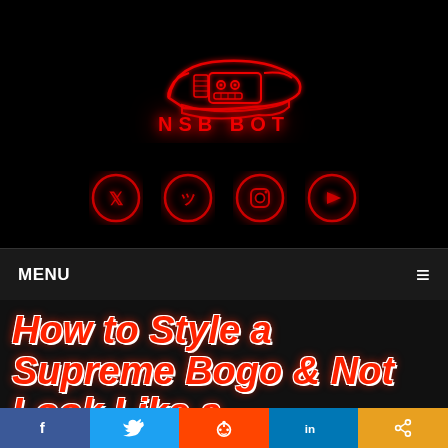[Figure (logo): NSB BOT neon logo — red neon sneaker with robot face and text 'NSB BOT' on black background, with four red neon social media icon circles below (Twitter, Discord, Instagram, YouTube)]
MENU
How to Style a Supreme Bogo & Not Look Like a
[Figure (infographic): Social share bar with five buttons: Facebook (f), Twitter bird, Reddit alien, LinkedIn (in), Share icon]